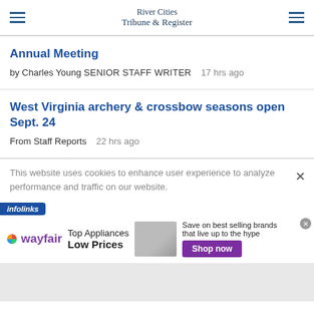River Cities Tribune & Register
Annual Meeting
by Charles Young SENIOR STAFF WRITER   17 hrs ago
West Virginia archery & crossbow seasons open Sept. 24
From Staff Reports   22 hrs ago
This website uses cookies to enhance user experience to analyze performance and traffic on our website.
[Figure (infographic): Wayfair advertisement: Top Appliances Low Prices, Shop now button, appliance image]